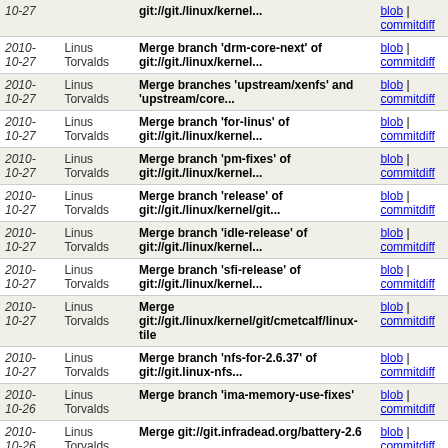| Date | Author | Commit message | Links |
| --- | --- | --- | --- |
| 2010-10-27 | Linus Torvalds | git://git./linux/kernel... | blob | commitdiff |
| 2010-10-27 | Linus Torvalds | Merge branch 'drm-core-next' of git://git./linux/kernel... | blob | commitdiff |
| 2010-10-27 | Linus Torvalds | Merge branches 'upstream/xenfs' and 'upstream/core... | blob | commitdiff |
| 2010-10-27 | Linus Torvalds | Merge branch 'for-linus' of git://git./linux/kernel... | blob | commitdiff |
| 2010-10-27 | Linus Torvalds | Merge branch 'pm-fixes' of git://git./linux/kernel... | blob | commitdiff |
| 2010-10-27 | Linus Torvalds | Merge branch 'release' of git://git./linux/kernel/git... | blob | commitdiff |
| 2010-10-27 | Linus Torvalds | Merge branch 'idle-release' of git://git./linux/kernel... | blob | commitdiff |
| 2010-10-27 | Linus Torvalds | Merge branch 'sfi-release' of git://git./linux/kernel... | blob | commitdiff |
| 2010-10-27 | Linus Torvalds | Merge git://git./linux/kernel/git/cmetcalf/linux-tile | blob | commitdiff |
| 2010-10-27 | Linus Torvalds | Merge branch 'nfs-for-2.6.37' of git://git.linux-nfs... | blob | commitdiff |
| 2010-10-26 | Linus Torvalds | Merge branch 'ima-memory-use-fixes' | blob | commitdiff |
| 2010-10-26 | Linus Torvalds | Merge git://git.infradead.org/battery-2.6 | blob | commitdiff |
| 2010-10-26 | Linus Torvalds | Merge branch 'linux_next' of git://git./linux/kernel... | blob | commitdiff |
| 2010-10-26 | Linus Torvalds | Merge branch 'for-linus' of | blob | commitdiff |